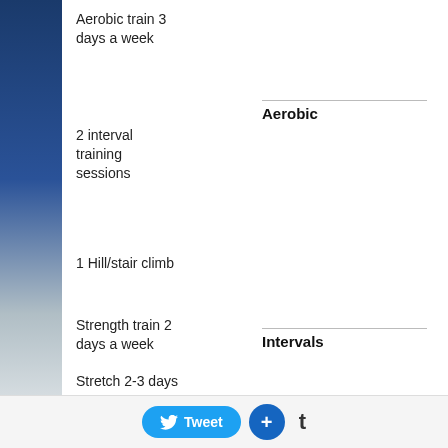Aerobic train 3 days a week
Aerobic
Gradually increase duration and intensity
2 interval training sessions
Do one glycolytic system and phosphate interval training workout. Include 10 minutes of intensity cardio (65%-80% MHR) as a warm-up prior to every interval workout.
1 Hill/stair climb
Strength train 2 days a week
Intervals
Hike 1 day a week
Rest 1 day a week
Do 1 hill and stair climbing workout for...
Stretch 2-3 days a week